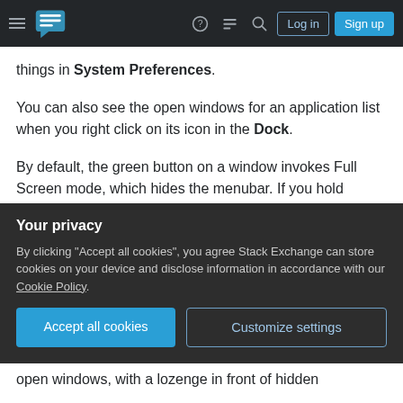Stack Exchange navigation bar with hamburger menu, logo, help, chat, search icons, Log in and Sign up buttons
things in System Preferences.
You can also see the open windows for an application list when you right click on its icon in the Dock.
By default, the green button on a window invokes Full Screen mode, which hides the menubar. If you hold Alt/option when you click on it, that should maximize the window. There are also options when you hover over the green button, or right-click on it. There are third-party utilities to improve window
Your privacy
By clicking "Accept all cookies", you agree Stack Exchange can store cookies on your device and disclose information in accordance with our Cookie Policy.
Accept all cookies  Customize settings
open windows, with a lozenge in front of hidden